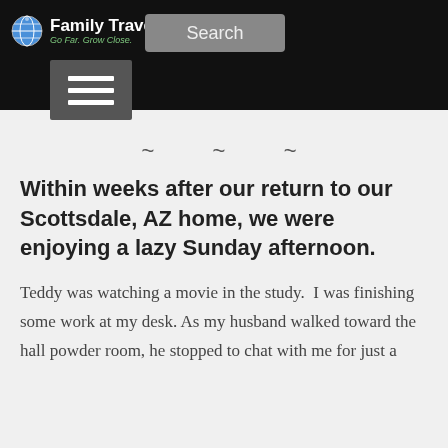FamilyTravel.com — Go Far. Grow Close. | Search
~ ~ ~
Within weeks after our return to our Scottsdale, AZ home, we were enjoying a lazy Sunday afternoon.
Teddy was watching a movie in the study.  I was finishing some work at my desk. As my husband walked toward the hall powder room, he stopped to chat with me for just a